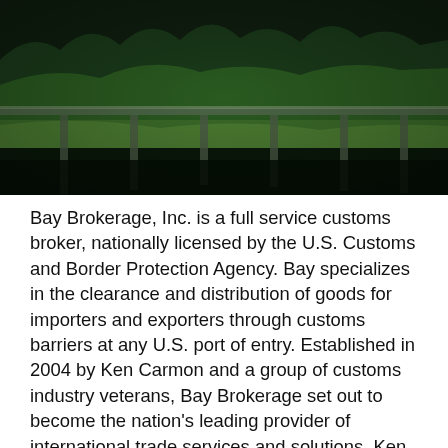[Figure (photo): Aerial photograph of a highway bridge/viaduct crossing a dark valley or river area with forested hills and green fields in the background, shot at dusk or dawn with low light.]
Bay Brokerage, Inc. is a full service customs broker, nationally licensed by the U.S. Customs and Border Protection Agency. Bay specializes in the clearance and distribution of goods for importers and exporters through customs barriers at any U.S. port of entry. Established in 2004 by Ken Carmon and a group of customs industry veterans, Bay Brokerage set out to become the nation's leading provider of international trade services and solutions. Ken and his team built three vital support companies to offer Bay customers an unprecedented group of world-class services. Together with Bay Brokerage, Bay International Trade Solutions, Bay Consulting, and Bay